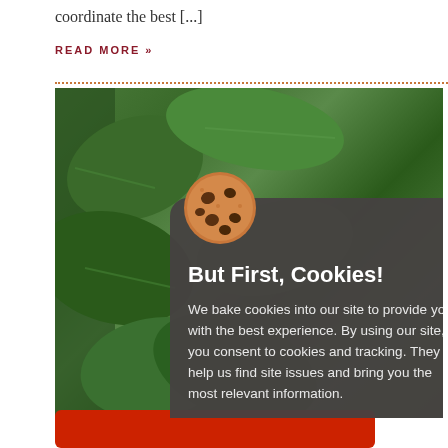coordinate the best [...]
READ MORE »
[Figure (screenshot): Cookie consent modal overlay on a webpage showing green plant/leaf background image. Modal has a cookie icon, title 'But First, Cookies!', descriptive text about cookies and tracking, and two buttons: 'Learn More' and 'Accept & Continue'.]